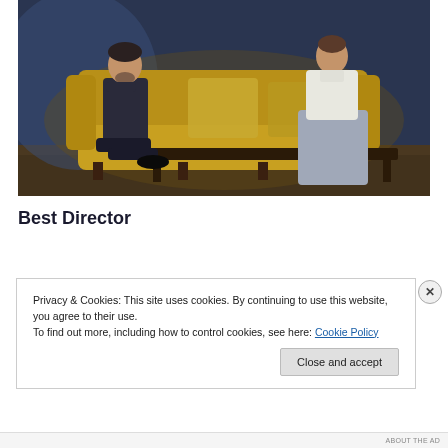[Figure (photo): Two actors on a yellow/mustard velvet sofa on a theatre stage. A man in a dark suit sits on the left with his legs crossed, resting his cheek on his hand. A woman in a white high-collar blouse and grey skirt sits on the right. A dark wooden coffee table is in front of them. The stage is lit with blue and warm amber lighting.]
Best Director
Privacy & Cookies: This site uses cookies. By continuing to use this website, you agree to their use.
To find out more, including how to control cookies, see here: Cookie Policy
ABOUT THE AD